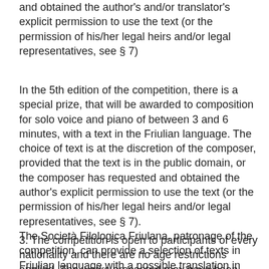and obtained the author's and/or translator's explicit permission to use the text (or the permission of his/her legal heirs and/or legal representatives, see § 7)
In the 5th edition of the competition, there is a special prize, that will be awarded to composition for solo voice and piano of between 3 and 6 minutes, with a text in the Friulian language. The choice of text is at the discretion of the composer, provided that the text is in the public domain, or the composer has requested and obtained the author's explicit permission to use the text (or the permission of his/her legal heirs and/or legal representatives, see § 7). The Società Filologica Friulana, patronage of the competition, can provide a selection of texts in Friulian language with a possible translation in Italian, German or English, and also audio files with reading of the texts themselves (contact to biblioteca@filologicafriulana.it).
3. The competition is open to participants of every nationality and there are no age restrictions applied. The works presented may have been performed previously but must be unpublished and not have